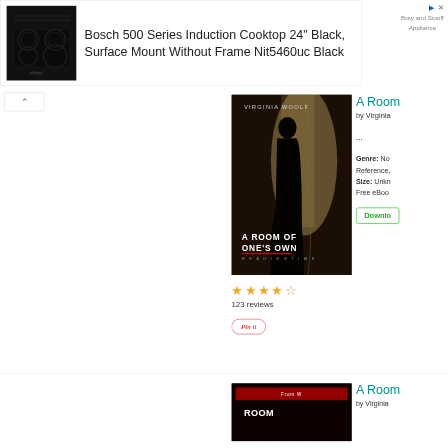[Figure (screenshot): Screenshot of a webpage showing a Bosch 500 Series Induction Cooktop advertisement at top, and below it a book listing for 'A Room of One's Own' by Virginia Woolf with cover image, 4.5 star rating, 123 reviews, and a Pin it button. A second book listing begins at the bottom.]
Bosch 500 Series Induction Cooktop 24" Black, Surface Mount Without Frame Nit5460uc Black
Bray and Scarff Appliance
A Room of One's Own
by Virginia
...
Genre: No Reference, Size: Unknown Free eBook
Download
123 reviews
Pin it
A Room
by Virginia